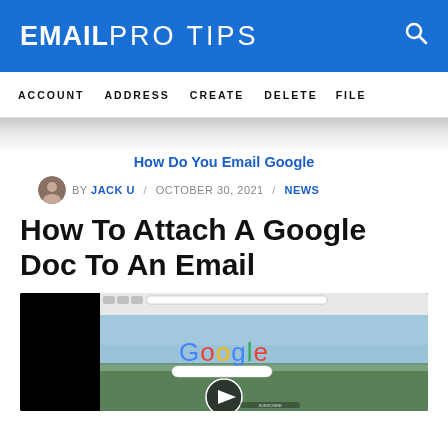EMAILPRO TIPS
ACCOUNT  ADDRESS  CREATE  DELETE  FILE
How Do You Email Google
BY JACK U / OCTOBER 30, 2021 / NEWS
How To Attach A Google Doc To An Email
[Figure (screenshot): Screenshot of a browser window showing the Google homepage with the Google logo and search bar visible, overlaid with a play button icon indicating a video]